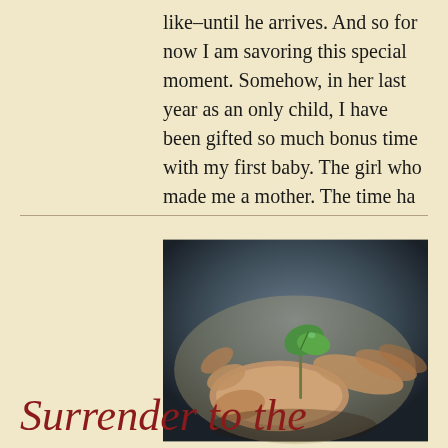like–until he arrives. And so for now I am savoring this special moment. Somehow, in her last year as an only child, I have been gifted so much bonus time with my first baby. The girl who made me a mother. The time ha
[Figure (photo): A close-up photograph of an open human hand holding a small green seedling/sprout against a blurred dark background.]
Surrender to the